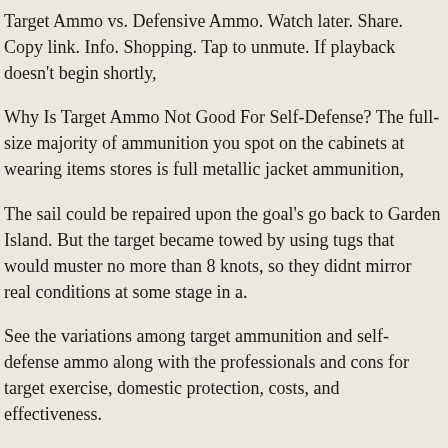Target Ammo vs. Defensive Ammo. Watch later. Share. Copy link. Info. Shopping. Tap to unmute. If playback doesn't begin shortly,
Why Is Target Ammo Not Good For Self-Defense? The full-size majority of ammunition you spot on the cabinets at wearing items stores is full metallic jacket ammunition,
The sail could be repaired upon the goal's go back to Garden Island. But the target became towed by using tugs that would muster no more than 8 knots, so they didnt mirror real conditions at some stage in a.
See the variations among target ammunition and self-defense ammo along with the professionals and cons for target exercise, domestic protection, costs, and effectiveness.
NFL Draft 2022: Giants target linemen; Jets double down on defense; Eagles load up on offense in latest 1st-round mock – The Jets have a pair of first-round picks in 2022: their own, plus one from the Seattle